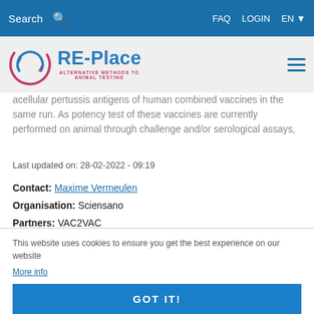Search | FAQ | LOGIN | EN
[Figure (logo): RE-Place logo with circular arrow icon and subtitle 'ALTERNATIVE METHODS TO ANIMAL TESTING']
acellular pertussis antigens of human combined vaccines in the same run. As potency test of these vaccines are currently performed on animal through challenge and/or serological assays,
Last updated on: 28-02-2022 - 09:19
Contact: Maxime Vermeulen
Organisation: Sciensano
Partners: VAC2VAC
Status: Still in development
Download PDF
This website uses cookies to ensure you get the best experience on our website
More info
GOT IT!